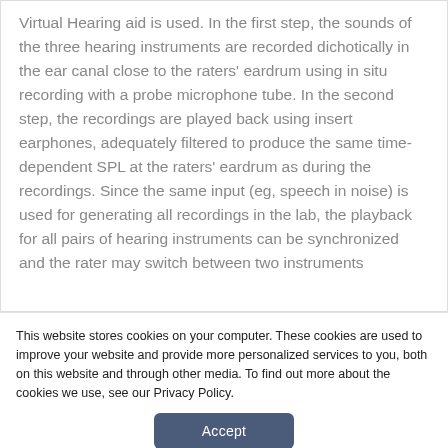Virtual Hearing aid is used. In the first step, the sounds of the three hearing instruments are recorded dichotically in the ear canal close to the raters' eardrum using in situ recording with a probe microphone tube. In the second step, the recordings are played back using insert earphones, adequately filtered to produce the same time-dependent SPL at the raters' eardrum as during the recordings. Since the same input (eg, speech in noise) is used for generating all recordings in the lab, the playback for all pairs of hearing instruments can be synchronized and the rater may switch between two instruments
This website stores cookies on your computer. These cookies are used to improve your website and provide more personalized services to you, both on this website and through other media. To find out more about the cookies we use, see our Privacy Policy.